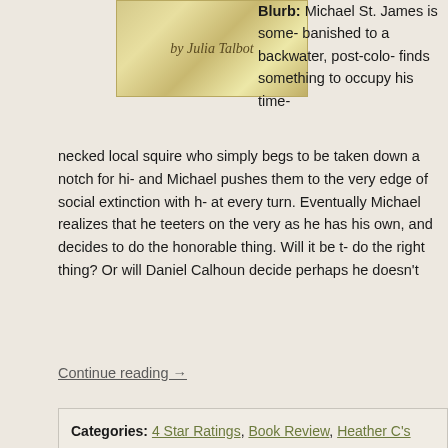[Figure (illustration): Book cover image with pearl/gold decorative background and cursive text reading 'by Julia Talbot']
Blurb: Michael St. James is some- banished to a backwater, post-colo- finds something to occupy his time- necked local squire who simply begs to be taken down a notch for hi- and Michael pushes them to the very edge of social extinction with h- at every turn. Eventually Michael realizes that he teeters on the very as he has his own, and decides to do the honorable thing. Will it be t- do the right thing? Or will Daniel Calhoun decide perhaps he doesn't
Continue reading →
Categories: 4 Star Ratings, Book Review, Heather C's Reviews, LG- Gentleman of Substance, enemies to lovers, First-Time, Gay for yo- Historical Romance, Novella, The Blogger Girls, Torquere Press | L